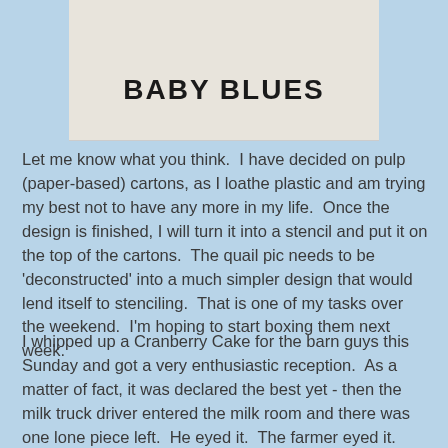[Figure (photo): Top portion of a product/label image showing 'BABY BLUES' text in bold black military-style font on a light beige/white background with a quail illustration partially visible at top]
Let me know what you think.  I have decided on pulp (paper-based) cartons, as I loathe plastic and am trying my best not to have any more in my life.  Once the design is finished, I will turn it into a stencil and put it on the top of the cartons.  The quail pic needs to be 'deconstructed' into a much simpler design that would lend itself to stenciling.  That is one of my tasks over the weekend.  I'm hoping to start boxing them next week.
I whipped up a Cranberry Cake for the barn guys this Sunday and got a very enthusiastic reception.  As a matter of fact, it was declared the best yet - then the milk truck driver entered the milk room and there was one lone piece left.  He eyed it.  The farmer eyed it.  Then the farmer sighed and offered it to the driver.  I think I saw tears in his eyes (kidding).  The recipe for the cake is here.  I do not put the